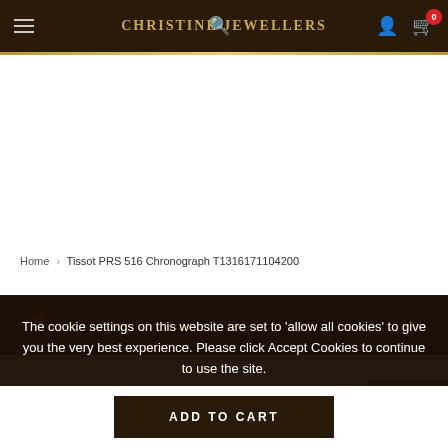Christine Jewellers
Home > Tissot PRS 516 Chronograph T1316171104200
[Figure (infographic): Airplane icon with FREE SHIPPING OVER $100 text on dark brown background]
The cookie settings on this website are set to 'allow all cookies' to give you the very best experience. Please click Accept Cookies to continue to use the site.
PRIVACY POLICY    ACCEPT COOKIES ✓
Christine Je...
415 I Hazelbridge Way Unit 1280
ADD TO CART